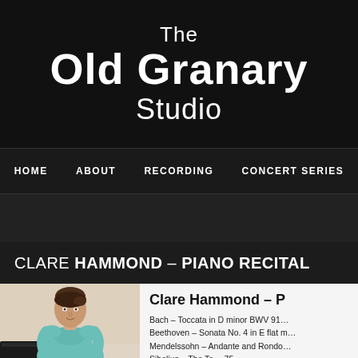The Old Granary Studio
HOME  ABOUT  RECORDING  CONCERT SERIES
CLARE HAMMOND – PIANO RECITAL
[Figure (photo): Portrait photo of Clare Hammond, a woman in a teal/turquoise dress, seated near a piano against a light background]
Clare Hammond – P…
Bach – Toccata in D minor BWV 91…
Beethoven – Sonata No. 4 in E flat m…
Mendelssohn – Andante and Rondo…
Sibelius – The To… 75…